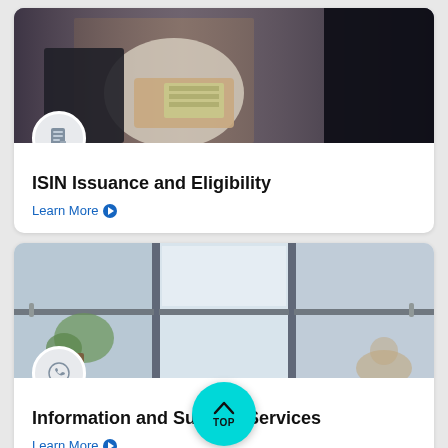[Figure (photo): Person counting cash/money, wearing white shirt, dark background]
ISIN Issuance and Eligibility
Learn More
[Figure (photo): Office interior with large windows, plants, and person in background]
Information and Support Services
Learn More
[Figure (infographic): Cyan/teal circular TOP button with upward chevron arrow]